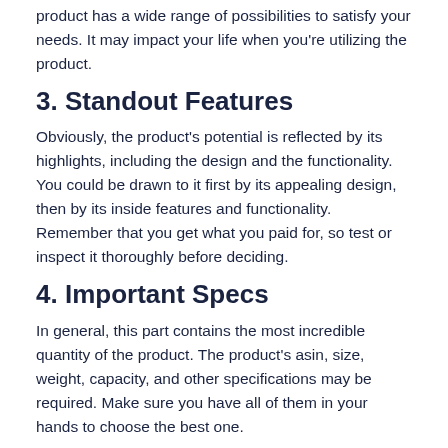product has a wide range of possibilities to satisfy your needs. It may impact your life when you're utilizing the product.
3. Standout Features
Obviously, the product's potential is reflected by its highlights, including the design and the functionality. You could be drawn to it first by its appealing design, then by its inside features and functionality. Remember that you get what you paid for, so test or inspect it thoroughly before deciding.
4. Important Specs
In general, this part contains the most incredible quantity of the product. The product's asin, size, weight, capacity, and other specifications may be required. Make sure you have all of them in your hands to choose the best one.